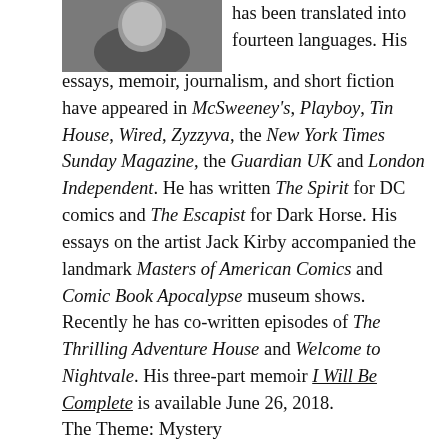[Figure (photo): Headshot photo of an author, partially visible at top left]
has been translated into fourteen languages. His essays, memoir, journalism, and short fiction have appeared in McSweeney's, Playboy, Tin House, Wired, Zyzzyva, the New York Times Sunday Magazine, the Guardian UK and London Independent. He has written The Spirit for DC comics and The Escapist for Dark Horse. His essays on the artist Jack Kirby accompanied the landmark Masters of American Comics and Comic Book Apocalypse museum shows. Recently he has co-written episodes of The Thrilling Adventure House and Welcome to Nightvale. His three-part memoir I Will Be Complete is available June 26, 2018.
The Theme: Mystery